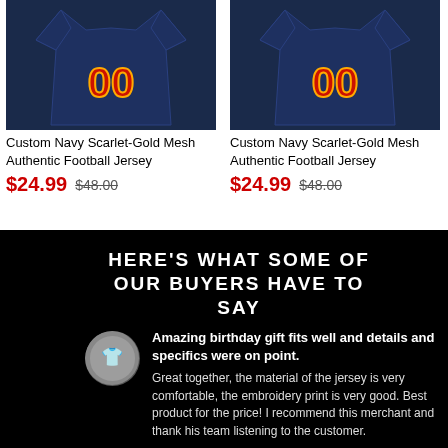[Figure (photo): Custom Navy Scarlet-Gold Mesh Authentic Football Jersey product image - left item]
Custom Navy Scarlet-Gold Mesh Authentic Football Jersey
$24.99 $48.00
[Figure (photo): Custom Navy Scarlet-Gold Mesh Authentic Football Jersey product image - right item]
Custom Navy Scarlet-Gold Mesh Authentic Football Jersey
$24.99 $48.00
HERE'S WHAT SOME OF OUR BUYERS HAVE TO SAY
Amazing birthday gift fits well and details and specifics were on point.
Great together, the material of the jersey is very comfortable, the embroidery print is very good. Best product for the price! I recommend this merchant and thank his team listening to the customer.